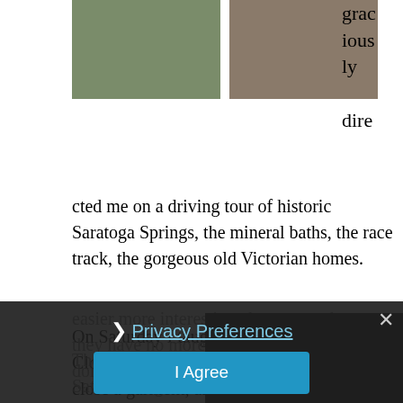[Figure (photo): Two photos side by side: left shows a colorful striped rug/blanket on ground with stones, right shows books or magazines in a drawer/box]
graciously dire
cted me on a driving tour of historic Saratoga Springs, the mineral baths, the race track, the gorgeous old Victorian homes.
On Saturday I taught a one day seminar on Closures, this would be various ways to close a garment, and we start the morning learning how to do the bound buttonhole, and a triangular variation. Once the students get to try these techniques, we move onto
easier more interesting closures, and now they have no more excuses for garments that don't close!
Privacy Preferences
I Agree
The drive home Saturday night was easy and I
[Figure (photo): Dark/dimly lit photo, bottom right of page]